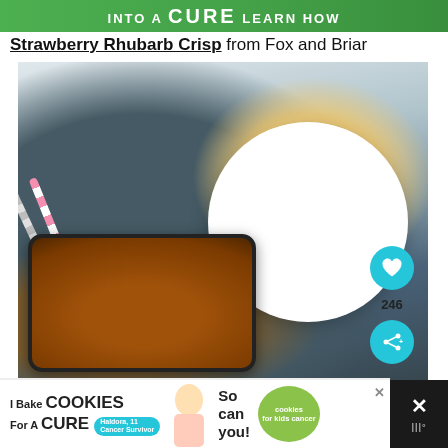into a CURE LEARN HOW
Strawberry Rhubarb Crisp from Fox and Briar
[Figure (photo): Overhead photo of a strawberry rhubarb crisp in a dark baking dish, with a slice served on a white plate stacked on dark blue plates, and decorative paper straws on a dark blue cloth napkin. A teal heart/like button shows 246 likes and a share button is visible.]
[Figure (photo): Advertisement banner: I Bake COOKIES For A CURE featuring a girl named Haldora, 11, Cancer Survivor, with cookies for kids cancer badge and 'So can you!' text.]